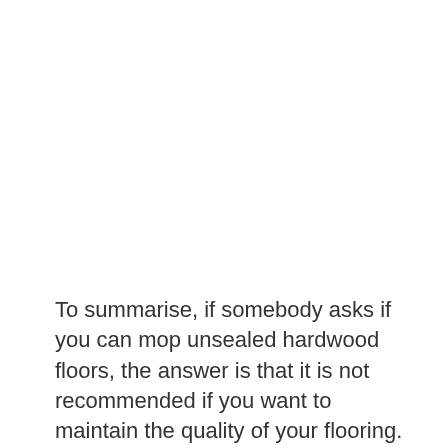To summarise, if somebody asks if you can mop unsealed hardwood floors, the answer is that it is not recommended if you want to maintain the quality of your flooring.